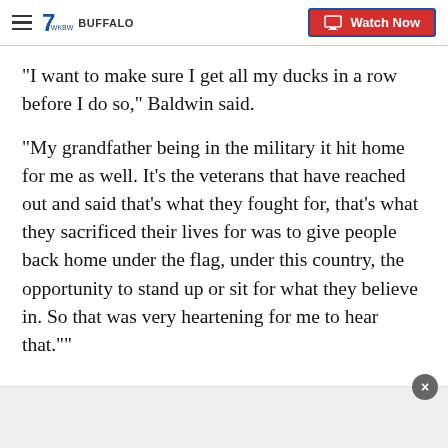WKBW BUFFALO — Watch Now
"I want to make sure I get all my ducks in a row before I do so," Baldwin said.
"My grandfather being in the military it hit home for me as well. It's the veterans that have reached out and said that's what they fought for, that's what they sacrificed their lives for was to give people back home under the flag, under this country, the opportunity to stand up or sit for what they believe in. So that was very heartening for me to hear that.""
Teammate Bobby Wagner believes the Seahawks